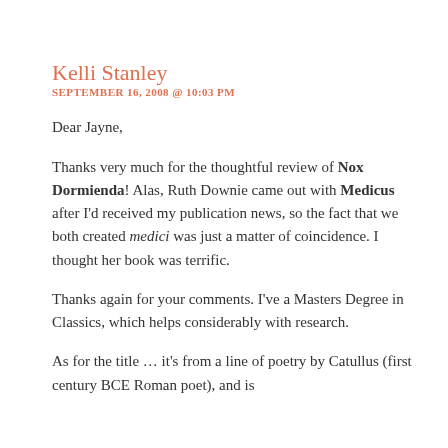Kelli Stanley
SEPTEMBER 16, 2008 @ 10:03 PM
Dear Jayne,
Thanks very much for the thoughtful review of Nox Dormienda! Alas, Ruth Downie came out with Medicus after I'd received my publication news, so the fact that we both created medici was just a matter of coincidence. I thought her book was terrific.
Thanks again for your comments. I've a Masters Degree in Classics, which helps considerably with research.
As for the title … it's from a line of poetry by Catullus (first century BCE Roman poet), and is